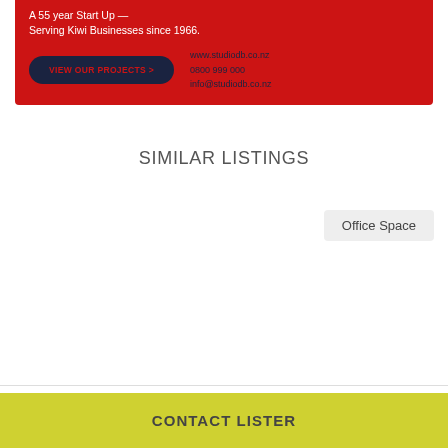[Figure (advertisement): Red advertisement banner for StudioDB showing tagline 'A 55 year Start Up — Serving Kiwi Businesses since 1966.' with a dark navy 'VIEW OUR PROJECTS >' button and contact info: www.studiodb.co.nz, 0800 999 000, info@studiodb.co.nz]
SIMILAR LISTINGS
Office Space
CONTACT LISTER